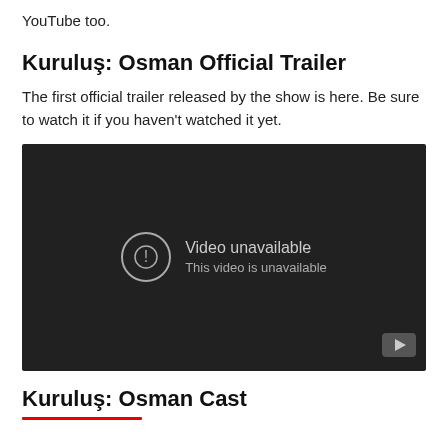YouTube too.
Kuruluş: Osman Official Trailer
The first official trailer released by the show is here. Be sure to watch it if you haven't watched it yet.
[Figure (screenshot): Embedded YouTube video player showing 'Video unavailable – This video is unavailable' message on a dark background, with a YouTube logo button in the bottom-right corner.]
Kuruluş: Osman Cast